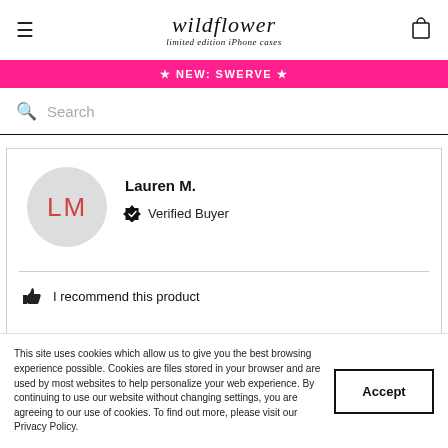wildflower limited edition iPhone cases
★ NEW: SWERVE ★
Search
Lauren M. — Verified Buyer
I recommend this product
This site uses cookies which allow us to give you the best browsing experience possible. Cookies are files stored in your browser and are used by most websites to help personalize your web experience. By continuing to use our website without changing settings, you are agreeing to our use of cookies. To find out more, please visit our Privacy Policy.